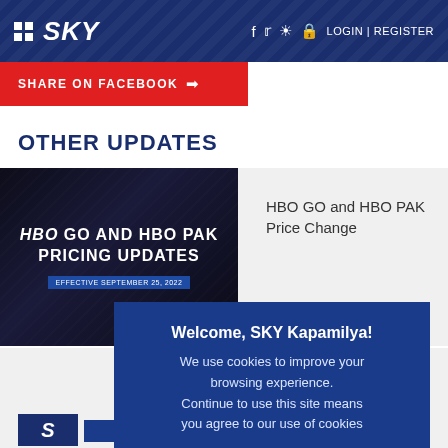SKY | LOGIN | REGISTER
SHARE ON FACEBOOK →
OTHER UPDATES
[Figure (screenshot): HBO GO AND HBO PAK PRICING UPDATES - EFFECTIVE SEPTEMBER 25, 2022 banner image on dark background]
HBO GO and HBO PAK Price Change
Welcome, SKY Kapamilya!
We use cookies to improve your browsing experience.
Continue to use this site means you agree to our use of cookies

Tell me more!
TV ASIA
/7
t system
ore